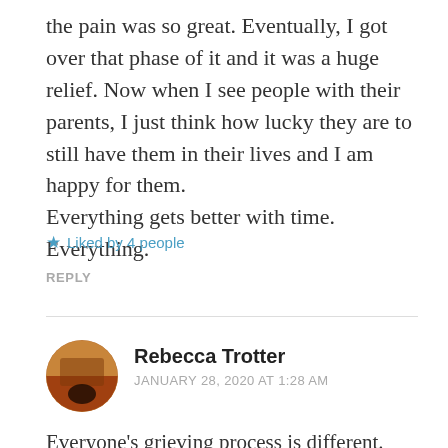the pain was so great. Eventually, I got over that phase of it and it was a huge relief. Now when I see people with their parents, I just think how lucky they are to still have them in their lives and I am happy for them.
Everything gets better with time. Everything.
★ Liked by 4 people
REPLY
[Figure (photo): Circular avatar photo of Rebecca Trotter showing a dark-colored animal or figure against a warm amber/red-brown background]
Rebecca Trotter
JANUARY 28, 2020 AT 1:28 AM
Everyone's grieving process is different.